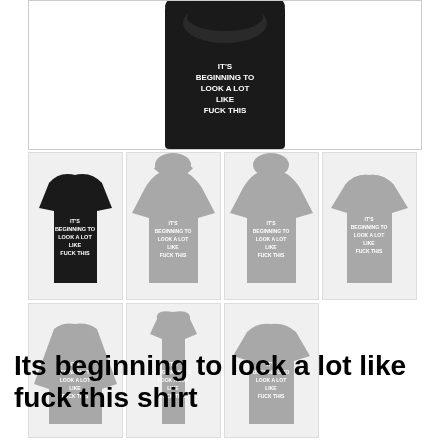[Figure (photo): Close-up top portion of a black t-shirt with text IT'S BEGINNING TO LOOK A LOT LIKE FUCK THIS on the front]
[Figure (photo): Grid of 7 clothing item thumbnails (t-shirt, hoodies, tank tops, long sleeve) all in black or grey with the same text IT'S BEGINNING TO LOOK A LOT LIKE FUCK THIS]
Its beginning to lock a lot like fuck this shirt